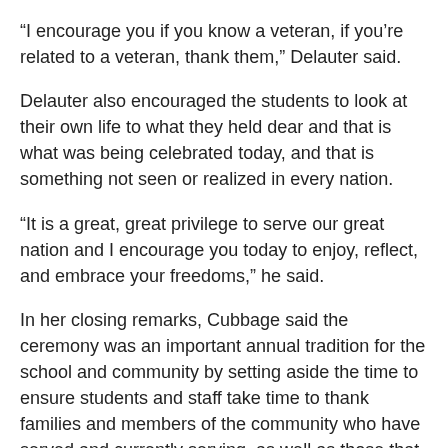“I encourage you if you know a veteran, if you’re related to a veteran, thank them,” Delauter said.
Delauter also encouraged the students to look at their own life to what they held dear and that is what was being celebrated today, and that is something not seen or realized in every nation.
“It is a great, great privilege to serve our great nation and I encourage you today to enjoy, reflect, and embrace your freedoms,” he said.
In her closing remarks, Cubbage said the ceremony was an important annual tradition for the school and community by setting aside the time to ensure students and staff take time to thank families and members of the community who have served and currently serving, as well as those that have passed.
“We also take the time to remember that we should not take our freedoms for granted for it is the members of the military and their loved ones that make sacrifices each day to protect these freedoms and stand up for those in the world who cannot stand up for themselves,” Cubbage said.
Sadly, she added, many of the veterans who have fought for our